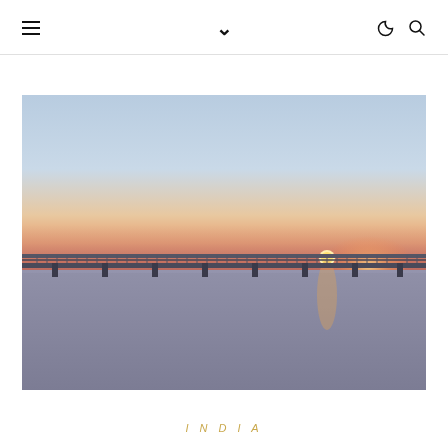≡ ∨ ☾ 🔍
[Figure (photo): Sunset over a wide river with a long bridge stretching across the horizon. The sky transitions from blue at the top to warm orange and pink near the horizon where the sun is setting. The river water reflects the warm glow of the sunset. A long railway/road bridge spans the full width of the image in the middle ground.]
INDIA